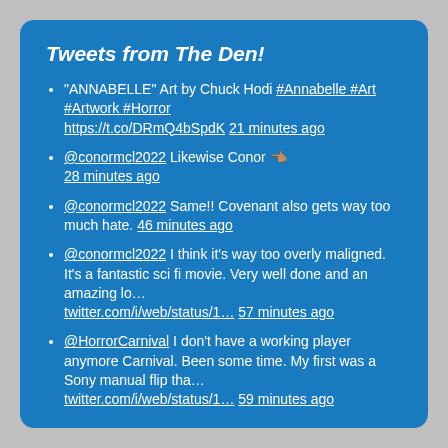Tweets from The Den!
"ANNABELLE" Art by Chuck Hodi #Annabelle #Art #Artwork #Horror https://t.co/DRmQ4bSpdK 21 minutes ago
@conormcl2022 Likewise Conor 👆 28 minutes ago
@conormcl2022 Same!! Covenant also gets way too much hate. 46 minutes ago
@conormcl2022 I think it's way too overly maligned. It's a fantastic sci fi movie. Very well done and an amazing lo… twitter.com/i/web/status/1… 57 minutes ago
@HorrorCarnival I don't have a working player anymore Carnival. Been some time. My first was a Sony manual flip tha… twitter.com/i/web/status/1… 59 minutes ago